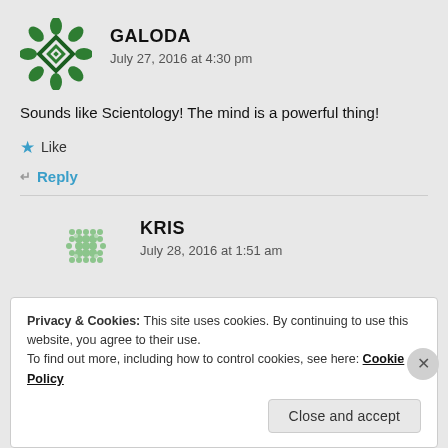GALODA
July 27, 2016 at 4:30 pm
Sounds like Scientology! The mind is a powerful thing!
Like
Reply
KRIS
July 28, 2016 at 1:51 am
Privacy & Cookies: This site uses cookies. By continuing to use this website, you agree to their use.
To find out more, including how to control cookies, see here: Cookie Policy
Close and accept